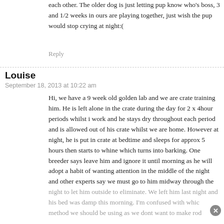each other. The older dog is just letting pup know who's boss, 3 and 1/2 weeks in ours are playing together, just wish the pup would stop crying at night:(
Reply
Louise
September 18, 2013 at 10:22 am
Hi, we have a 9 week old golden lab and we are crate training him. He is left alone in the crate during the day for 2 x 4hour periods whilst i work and he stays dry throughout each period and is allowed out of his crate whilst we are home. However at night, he is put in crate at bedtime and sleeps for approx 5 hours then starts to whine which turns into barking. One breeder says leave him and ignore it until morning as he will adopt a habit of wanting attention in the middle of the night and other experts say we must go to him midway through the night to let him outside to eliminate. We left him last night and his bed was damp this morning. I'm confused with whic method we should be using as we dont want to make rod